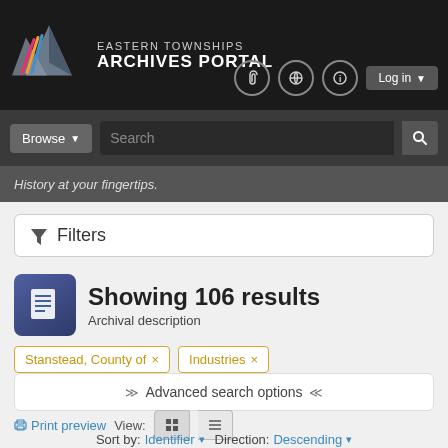EASTERN TOWNSHIPS ARCHIVES PORTAL
History at your fingertips.
Filters
Showing 106 results
Archival description
Stanstead, County of ×
Industries ×
Advanced search options
Print preview   View:   Sort by: Identifier ▾ Direction: Descending ▾